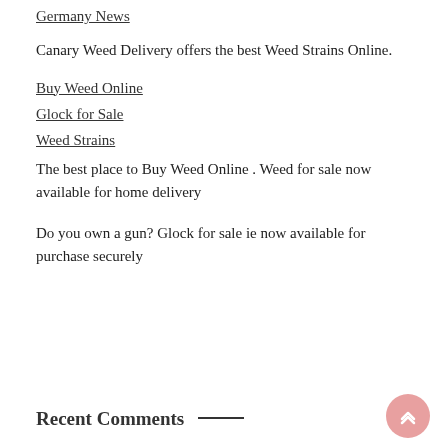Germany News
Canary Weed Delivery offers the best Weed Strains Online.
Buy Weed Online
Glock for Sale
Weed Strains
The best place to Buy Weed Online . Weed for sale now available for home delivery
Do you own a gun? Glock for sale ie now available for purchase securely
Recent Comments